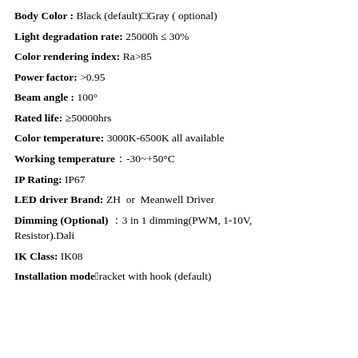Body Color : Black (default) Gray ( optional)
Light degradation rate: 25000h ≤ 30%
Color rendering index: Ra>85
Power factor: >0.95
Beam angle : 100°
Rated life: ≥50000hrs
Color temperature: 3000K-6500K all available
Working temperature：-30~+50°C
IP Rating: IP67
LED driver Brand: ZH  or  Meanwell Driver
Dimming (Optional) ：3 in 1 dimming(PWM, 1-10V, Resistor).Dali
IK Class: IK08
Installation mode：Bracket with hook (default)